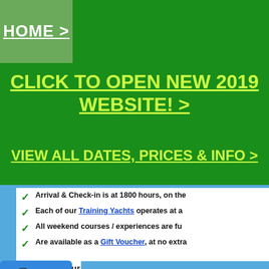HOME >
CLICK TO OPEN NEW 2019 WEBSITE! >
VIEW ALL DATES, PRICES & INFO >
Arrival & Check-in is at 1800 hours, on the
Each of our Training Yachts operates at a
All weekend courses / experiences are fu
Are available as a Gift Voucher, at no extra
[Figure (screenshot): Check out our Videos - Reviews - Pictures - Brand New Website banner image]
RYA Day Skipper Practical (Sail T
Learn-to-Sail Holiday with RYA